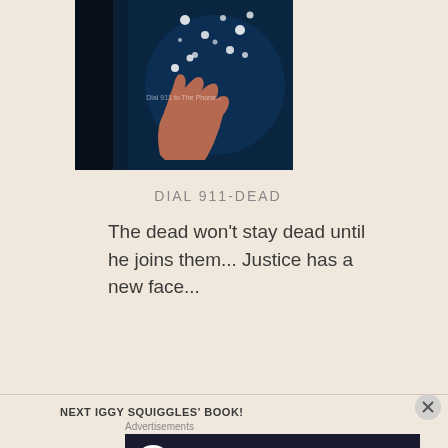[Figure (illustration): Book cover image with dark blue background, floating orbs and a hand reaching upward, with text 'Dial 911 to The Phone...']
DIAL 911-DEAD
The dead won't stay dead until he joins them... Justice has a new face...
NEXT IGGY SQUIGGLES' BOOK!
Advertisements
[Figure (screenshot): Advertisement banner: 'Launch your online course with WordPress' with Learn More button]